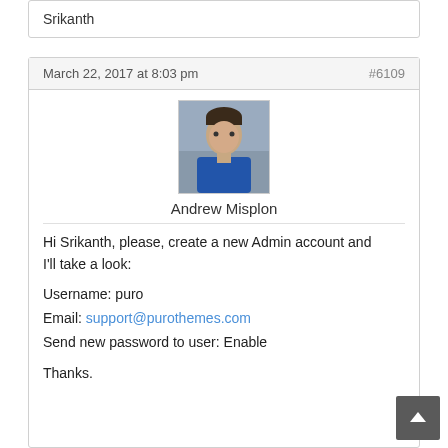Srikanth
March 22, 2017 at 8:03 pm
#6109
[Figure (photo): Profile photo of Andrew Misplon]
Andrew Misplon
Hi Srikanth, please, create a new Admin account and I'll take a look:
Username: puro
Email: support@purothemes.com
Send new password to user: Enable
Thanks.